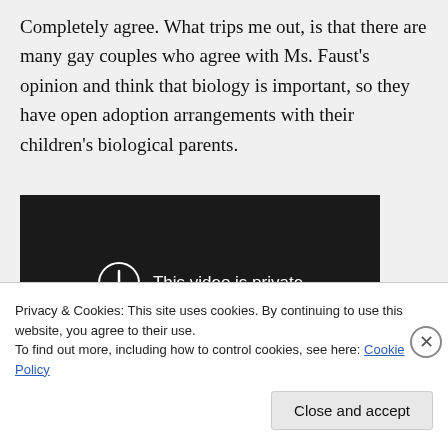Completely agree. What trips me out, is that there are many gay couples who agree with Ms. Faust's opinion and think that biology is important, so they have open adoption arrangements with their children's biological parents.
[Figure (screenshot): Dark video player showing 'This video is private' message with a circle-exclamation icon]
Privacy & Cookies: This site uses cookies. By continuing to use this website, you agree to their use.
To find out more, including how to control cookies, see here: Cookie Policy